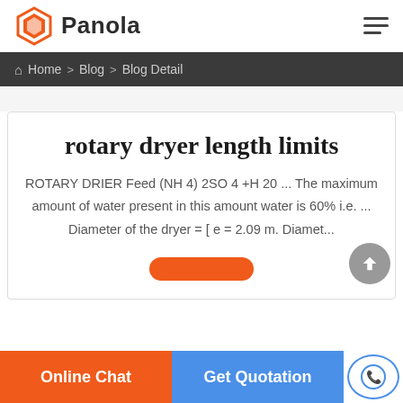[Figure (logo): Panola company logo with orange diamond hexagon icon and bold text 'Panola']
Home > Blog > Blog Detail
rotary dryer length limits
ROTARY DRIER Feed (NH 4) 2SO 4 +H 20 ... The maximum amount of water present in this amount water is 60% i.e. ... Diameter of the dryer = [ e = 2.09 m. Diamet...
Online Chat   Get Quotation